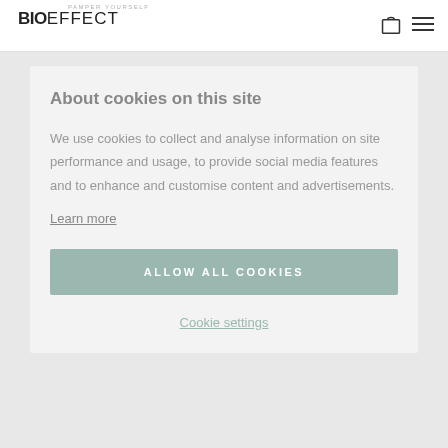PAMPER YOURSELF
BIOEFFECT
About cookies on this site
We use cookies to collect and analyse information on site performance and usage, to provide social media features and to enhance and customise content and advertisements.
Learn more
ALLOW ALL COOKIES
Cookie settings